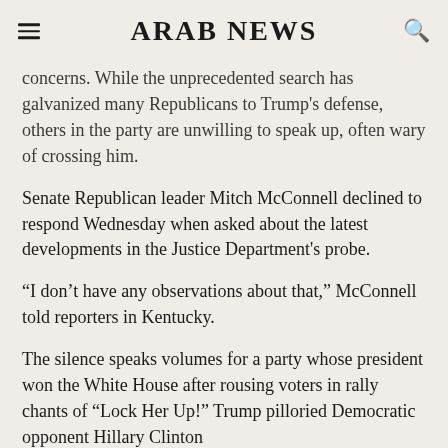ARAB NEWS
concerns. While the unprecedented search has galvanized many Republicans to Trump's defense, others in the party are unwilling to speak up, often wary of crossing him.
Senate Republican leader Mitch McConnell declined to respond Wednesday when asked about the latest developments in the Justice Department's probe.
“I don’t have any observations about that,” McConnell told reporters in Kentucky.
The silence speaks volumes for a party whose president won the White House after rousing voters in rally chants of “Lock Her Up!” Trump pilloried Democratic opponent Hillary Clinton